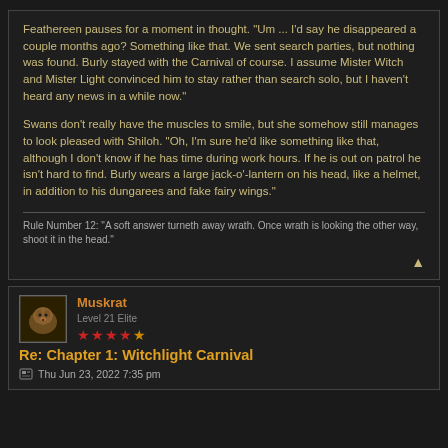Feathereen pauses for a moment in thought. "Um ... I'd say he disappeared a couple months ago? Something like that. We sent search parties, but nothing was found. Burly stayed with the Carnival of course. I assume Mister Witch and Mister Light convinced him to stay rather than search solo, but I haven't heard any news in a while now."

Swans don't really have the muscles to smile, but she somehow still manages to look pleased with Shiloh. "Oh, I'm sure he'd like something like that, although I don't know if he has time during work hours. If he is out on patrol he isn't hard to find. Burly wears a large jack-o'-lantern on his head, like a helmet, in addition to his dungarees and fake fairy wings."
Rule Number 12: "A soft answer turneth away wrath. Once wrath is looking the other way, shoot it in the head."
Muskrat
Level 21 Elite
★★★★☆
Re: Chapter 1: Witchlight Carnival
Thu Jun 23, 2022 7:35 pm